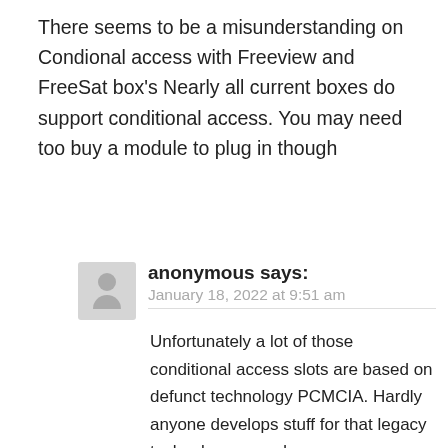There seems to be a misunderstanding on Condional access with Freeview and FreeSat box's Nearly all current boxes do support conditional access. You may need too buy a module to plug in though
anonymous says:
January 18, 2022 at 9:51 am
Unfortunately a lot of those conditional access slots are based on defunct technology PCMCIA. Hardly anyone develops stuff for that legacy technology nowadays.
Alex A says:
January 17, 2022 at 6:36 pm
Getting £13.25 per person from broadband fees and broadband into to Denmak that could f...